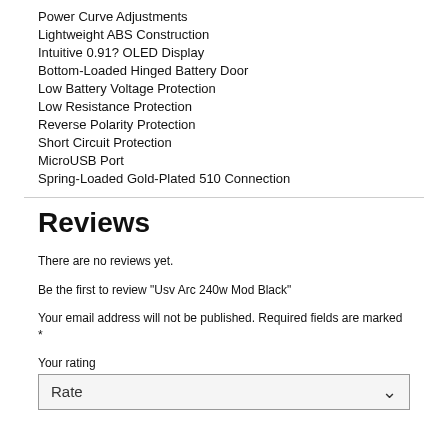Power Curve Adjustments
Lightweight ABS Construction
Intuitive 0.91? OLED Display
Bottom-Loaded Hinged Battery Door
Low Battery Voltage Protection
Low Resistance Protection
Reverse Polarity Protection
Short Circuit Protection
MicroUSB Port
Spring-Loaded Gold-Plated 510 Connection
Reviews
There are no reviews yet.
Be the first to review "Usv Arc 240w Mod Black"
Your email address will not be published. Required fields are marked *
Your rating
Rate